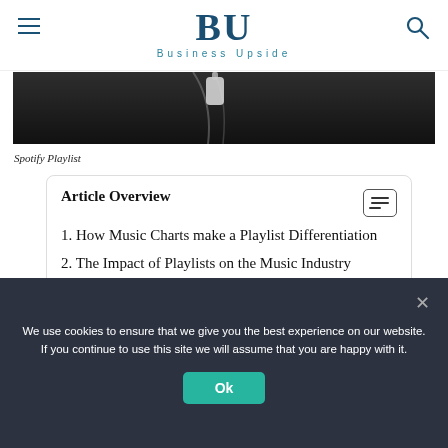BU — Business Upside
[Figure (photo): Dark grayscale image of earphones/headphones cable on dark slate background — partial view, cropped at top]
Spotify Playlist
Article Overview
1. How Music Charts make a Playlist Differentiation
2. The Impact of Playlists on the Music Industry
We use cookies to ensure that we give you the best experience on our website. If you continue to use this site we will assume that you are happy with it.